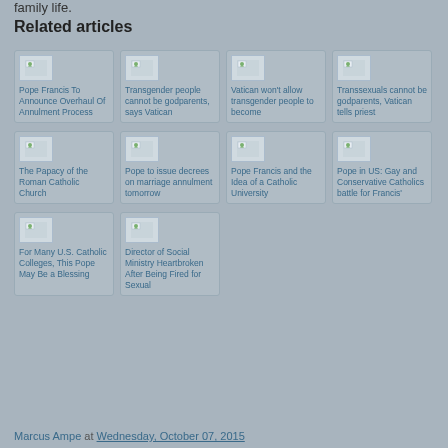family life.
Related articles
Pope Francis To Announce Overhaul Of Annulment Process
Transgender people cannot be godparents, says Vatican
Vatican won't allow transgender people to become
Transsexuals cannot be godparents, Vatican tells priest
The Papacy of the Roman Catholic Church
Pope to issue decrees on marriage annulment tomorrow
Pope Francis and the Idea of a Catholic University
Pope in US: Gay and Conservative Catholics battle for Francis'
For Many U.S. Catholic Colleges, This Pope May Be a Blessing
Director of Social Ministry Heartbroken After Being Fired for Sexual
Marcus Ampe at Wednesday, October 07, 2015